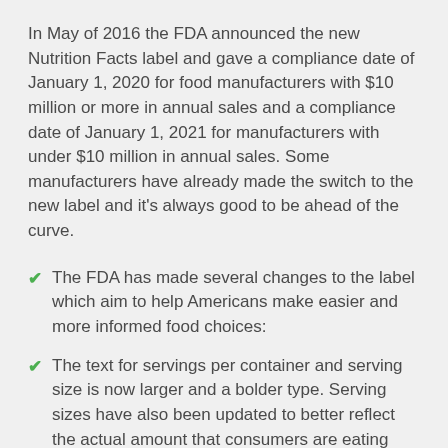In May of 2016 the FDA announced the new Nutrition Facts label and gave a compliance date of January 1, 2020 for food manufacturers with $10 million or more in annual sales and a compliance date of January 1, 2021 for manufacturers with under $10 million in annual sales. Some manufacturers have already made the switch to the new label and it's always good to be ahead of the curve.
The FDA has made several changes to the label which aim to help Americans make easier and more informed food choices:
The text for servings per container and serving size is now larger and a bolder type. Serving sizes have also been updated to better reflect the actual amount that consumers are eating and drinking